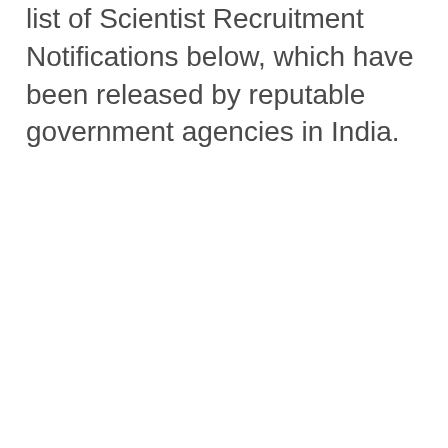list of Scientist Recruitment Notifications below, which have been released by reputable government agencies in India.